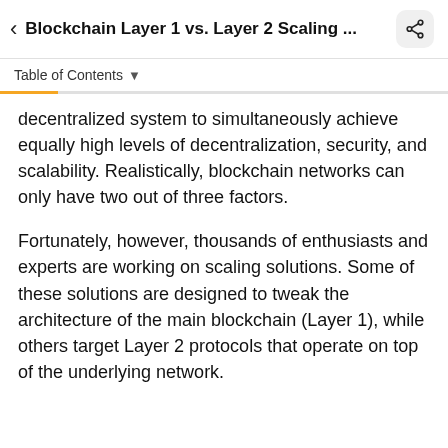Blockchain Layer 1 vs. Layer 2 Scaling ...
Table of Contents
decentralized system to simultaneously achieve equally high levels of decentralization, security, and scalability. Realistically, blockchain networks can only have two out of three factors.
Fortunately, however, thousands of enthusiasts and experts are working on scaling solutions. Some of these solutions are designed to tweak the architecture of the main blockchain (Layer 1), while others target Layer 2 protocols that operate on top of the underlying network.